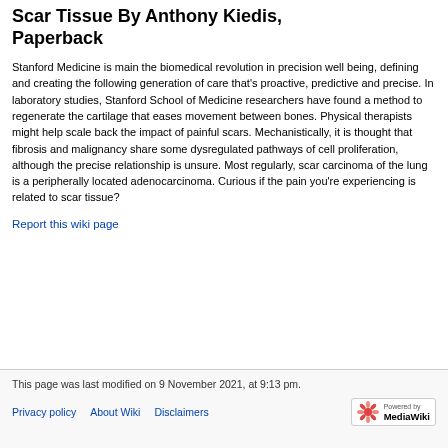Scar Tissue By Anthony Kiedis, Paperback
Stanford Medicine is main the biomedical revolution in precision well being, defining and creating the following generation of care that's proactive, predictive and precise. In laboratory studies, Stanford School of Medicine researchers have found a method to regenerate the cartilage that eases movement between bones. Physical therapists might help scale back the impact of painful scars. Mechanistically, it is thought that fibrosis and malignancy share some dysregulated pathways of cell proliferation, although the precise relationship is unsure. Most regularly, scar carcinoma of the lung is a peripherally located adenocarcinoma. Curious if the pain you're experiencing is related to scar tissue?
Report this wiki page
This page was last modified on 9 November 2021, at 9:13 pm.
Privacy policy   About Wiki   Disclaimers